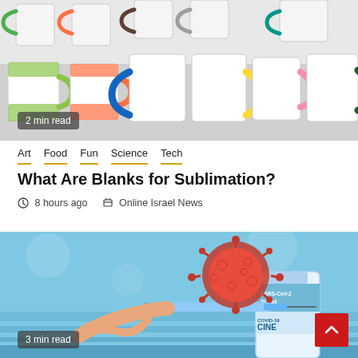[Figure (photo): Row of white mugs with colorful handles (green, orange, blue, yellow, pink, dark green) seen from front and back, on a white background.]
2 min read
Art  Food  Fun  Science  Tech
What Are Blanks for Sublimation?
8 hours ago   Online Israel News
[Figure (photo): COVID-19 vaccine bottle and syringe with a 3D coronavirus model floating above, on a blue background. A hand is drawing vaccine into the syringe. The bottle label reads 'SARS-CoV-2 20ml COVID-19 VACCINE'.]
3 min read